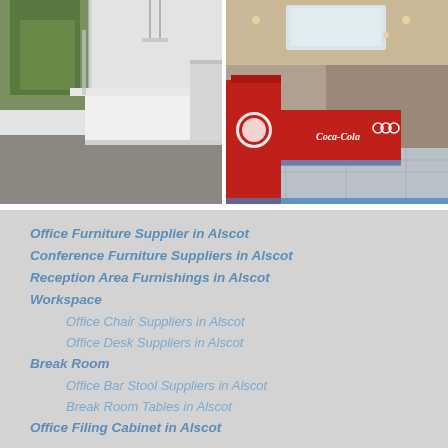[Figure (photo): Modern white office/reception desk area with glass panels and greenery in background]
[Figure (photo): Coca-Cola branded reception area with red pillars, blue LED lighting, and marble floor]
Office Furniture Supplier in Alscot
Conference Furniture Suppliers in Alscot
Reception Area Furnishings in Alscot
Workspace
Office Chair Suppliers in Alscot
Office Desk Suppliers in Alscot
Break Room
Office Bar Stool Suppliers in Alscot
Break Room Tables in Alscot
Office Filing Cabinet in Alscot